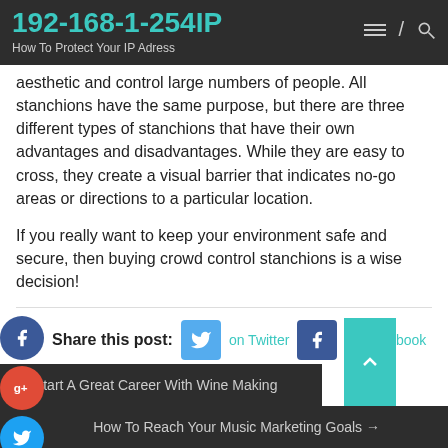192-168-1-254IP
How To Protect Your IP Adress
aesthetic and control large numbers of people. All stanchions have the same purpose, but there are three different types of stanchions that have their own advantages and disadvantages. While they are easy to cross, they create a visual barrier that indicates no-go areas or directions to a particular location.
If you really want to keep your environment safe and secure, then buying crowd control stanchions is a wise decision!
Share this post: on Twitter  on Facebook  on Google+
← Start A Great Career With Wine Making
How To Reach Your Music Marketing Goals →